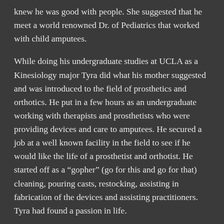knew he was good with people.  She suggested that he meet a world renowned Dr. of Pediatrics that worked with child amputees.
While doing his undergraduate studies at UCLA as a Kinesiology major Tyra did what his mother suggested and was introduced to the field of prosthetics and orthotics.  He put in a few hours as an undergraduate working with therapists and prosthetists who were providing devices and care to amputees.  He secured a job at a well known facility in the field to see if he would like the life of a prosthetist and orthotist.  He started off as a “gopher” (go for this and go for that) cleaning, pouring casts, restocking, assisting in fabrication of the devices and assisting practitioners.  Tyra had found a passion in life.
After finishing his undergraduate degree at UCLA